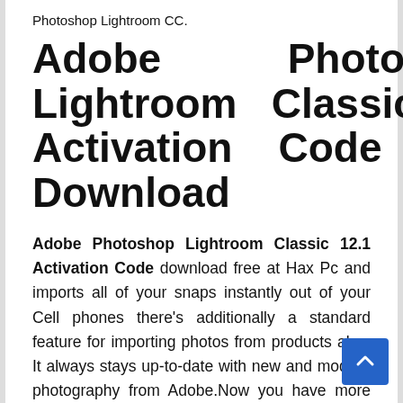Photoshop Lightroom CC.
Adobe Photoshop Lightroom Classic 12.1 Activation Code Free Download
Adobe Photoshop Lightroom Classic 12.1 Activation Code download free at Hax Pc and imports all of your snaps instantly out of your Cell phones there's additionally a standard feature for importing photos from products also. It always stays up-to-date with new and modern photography from Adobe.Now you have more power than ever before to create great images in challenging light. Find and group images by